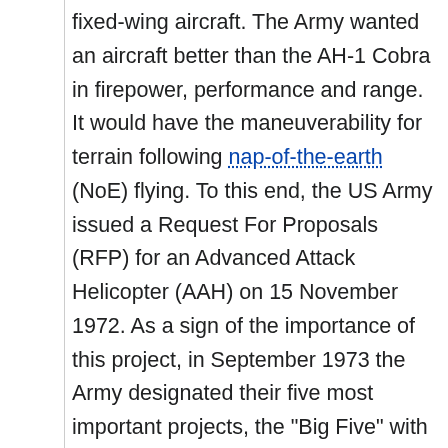fixed-wing aircraft. The Army wanted an aircraft better than the AH-1 Cobra in firepower, performance and range. It would have the maneuverability for terrain following nap-of-the-earth (NoE) flying. To this end, the US Army issued a Request For Proposals (RFP) for an Advanced Attack Helicopter (AAH) on 15 November 1972. As a sign of the importance of this project, in September 1973 the Army designated their five most important projects, the "Big Five" with AAH included.
Proposals were submitted by Bell, Boeing Vertol/Grumman team, Hughes, Lockheed, and Sikorsky. In July 1973, the U.S. Department of Defense selected finalists Bell and Hughes Aircraft's Toolco Aircraft Division (later Hughes